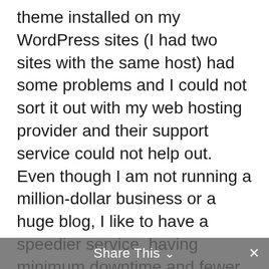theme installed on my WordPress sites (I had two sites with the same host) had some problems and I could not sort it out with my web hosting provider and their support service could not help out. Even though I am not running a million-dollar business or a huge blog, I like to have a speedier service, having minimum downtime and fewer problems with my hosting services. I did not have much budget to go for very fast dedicated services but I did not want to settle with dirt-cheap hosting either where you need to troubleshoot problems every day or the other. I have a habit of researching things and services before I make a purchase. So, when I decided to switch my web host, which I had been using for more than 8 years, I Googled and Binged
Share This ∨ ×